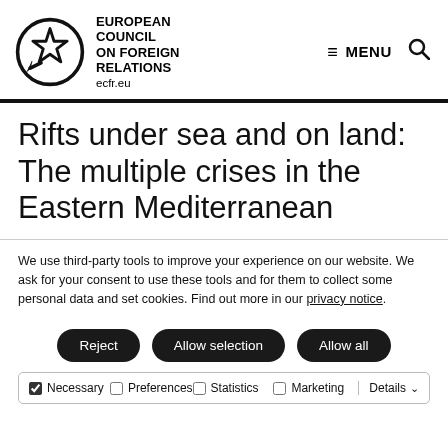EUROPEAN COUNCIL ON FOREIGN RELATIONS ecfr.eu | MENU
Rifts under sea and on land: The multiple crises in the Eastern Mediterranean
We use third-party tools to improve your experience on our website. We ask for your consent to use these tools and for them to collect some personal data and set cookies. Find out more in our privacy notice.
Reject
Allow selection
Allow all
Necessary | Preferences | Statistics | Marketing | Details